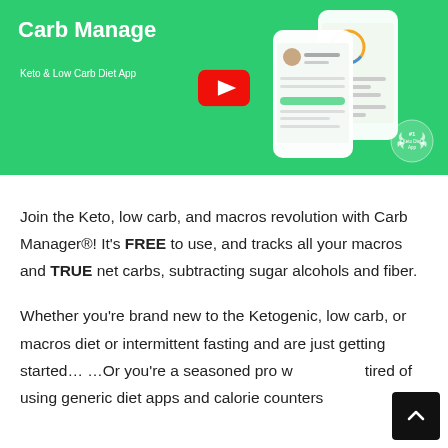[Figure (screenshot): YouTube video thumbnail for Carb Manager app showing green background with white bold text 'Carb Manager' and subtitle 'Keto & Low Carb Diet App', a YouTube play button in the center, phone mockup screenshots of the app on the right, and a '#1 Keto Diet App' laurel badge in the bottom right.]
Join the Keto, low carb, and macros revolution with Carb Manager®! It's FREE to use, and tracks all your macros and TRUE net carbs, subtracting sugar alcohols and fiber.
Whether you're brand new to the Ketogenic, low carb, or macros diet or intermittent fasting and are just getting started… …Or you're a seasoned pro who tired of using generic diet apps and calorie counters